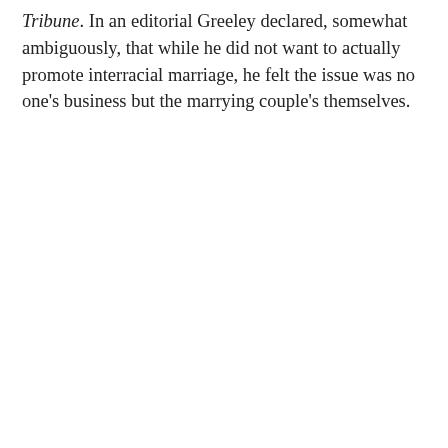Tribune. In an editorial Greeley declared, somewhat ambiguously, that while he did not want to actually promote interracial marriage, he felt the issue was no one's business but the marrying couple's themselves.